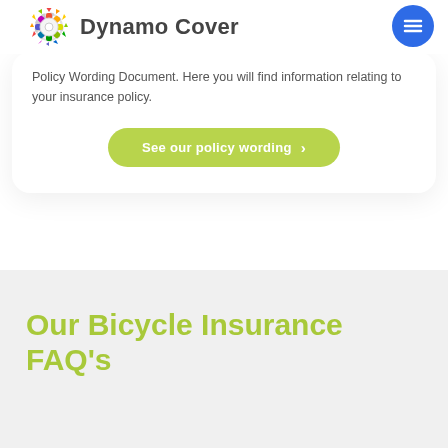Dynamo Cover
Policy Wording Document. Here you will find information relating to your insurance policy.
See our policy wording ›
Our Bicycle Insurance FAQ's